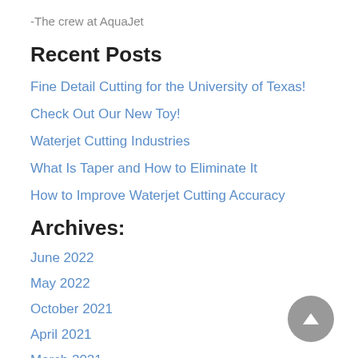-The crew at AquaJet
Recent Posts
Fine Detail Cutting for the University of Texas!
Check Out Our New Toy!
Waterjet Cutting Industries
What Is Taper and How to Eliminate It
How to Improve Waterjet Cutting Accuracy
Archives:
June 2022
May 2022
October 2021
April 2021
March 2021